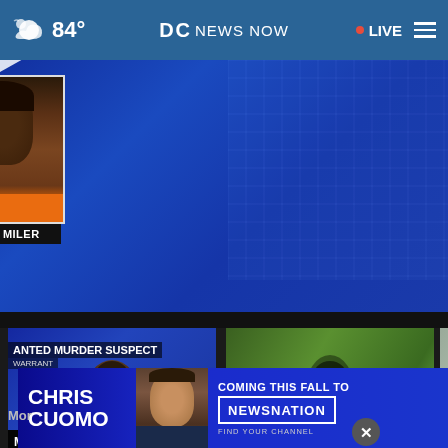84° DC NEWS NOW • LIVE
[Figure (screenshot): Main video player showing mugshot of AVERY MILER on a blue news broadcast background with play button]
[Figure (screenshot): Thumbnail: Wanted Murder Suspect video with play button]
Metropolitan Police Department Looking...
8 mins ago
[Figure (screenshot): Thumbnail: Workers at American University Strike with play button]
Workers at American University Strike
5 hours ago
[Figure (screenshot): Thumbnail: Husband Facing (partially visible)]
Husba... Facing...
[Figure (advertisement): Advertisement banner: CHRIS CUOMO COMING THIS FALL TO NEWSNATION FIND YOUR CHANNEL]
Mor